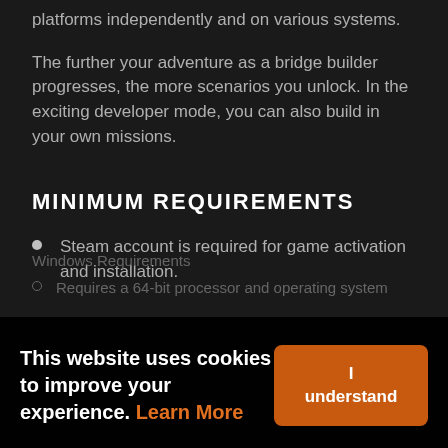platforms independently and on various systems.
The further your adventure as a bridge builder progresses, the more scenarios you unlock. In the exciting developer mode, you can also build in your own missions.
MINIMUM REQUIREMENTS
Steam account is required for game activation and installation.
Windows Requirements
Requires a 64-bit processor and operating system
This website uses cookies to improve your experience. Learn More
I understand